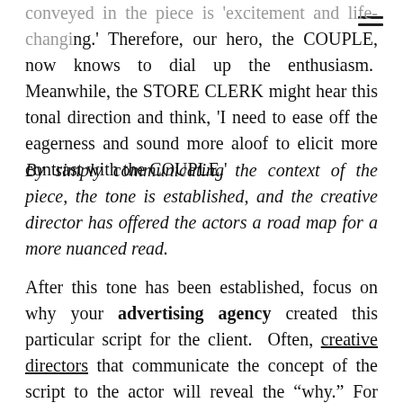conveyed in the piece is 'excitement and life-changing.' Therefore, our hero, the COUPLE, now knows to dial up the enthusiasm.  Meanwhile, the STORE CLERK might hear this tonal direction and think, 'I need to ease off the eagerness and sound more aloof to elicit more contrast with the COUPLE.'
By simply communicating the context of the piece, the tone is established, and the creative director has offered the actors a road map for a more nuanced read.
After this tone has been established, focus on why your advertising agency created this particular script for the client.  Often, creative directors that communicate the concept of the script to the actor will reveal the "why." For instance, using the lottery scratch-off scenario: